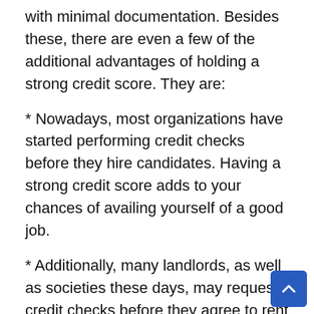with minimal documentation. Besides these, there are even a few of the additional advantages of holding a strong credit score. They are:
* Nowadays, most organizations have started performing credit checks before they hire candidates. Having a strong credit score adds to your chances of availing yourself of a good job.
* Additionally, many landlords, as well as societies these days, may request credit checks before they agree to rent you a specific place.
* Furniture rental companies even perform your credit check before they offer you a price...